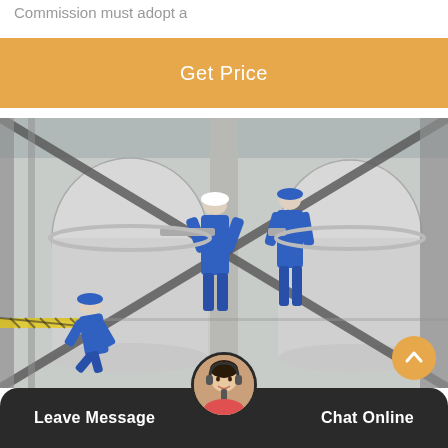Commission must adopt a
Get Price
[Figure (photo): Industrial workers in blue overalls and hard hats working on large industrial pressure vessels or storage tanks in a factory or refinery setting. Diagonal structural beams cross the scene.]
Leave Message
Chat Online